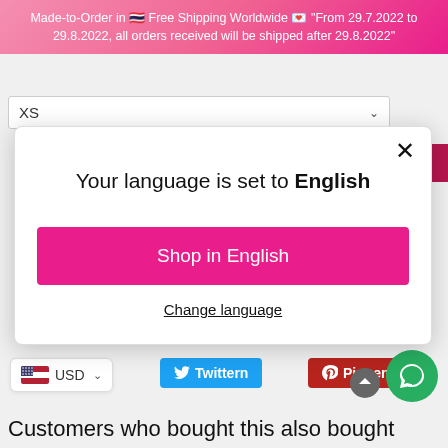Made-to-Order in 🇹🇭 Free Shipping Worldwide 💌 "From 29.7.2022 to 29.8.2022, all orders received will be shipped after 29.8.2022"
XS
IN DEN EINKAUFSWAGEN
Your language is set to English
Shop in English
Change language
USD
Twittern
Pinnen
Customers who bought this also bought